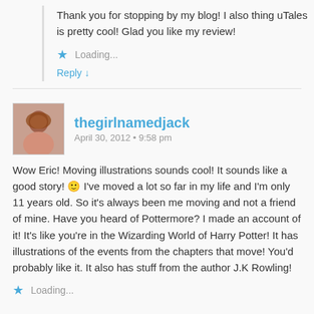Thank you for stopping by my blog! I also thing uTales is pretty cool! Glad you like my review!
Loading...
Reply ↓
thegirlnamedjack
April 30, 2012 • 9:58 pm
Wow Eric! Moving illustrations sounds cool! It sounds like a good story! 🙂 I've moved a lot so far in my life and I'm only 11 years old. So it's always been me moving and not a friend of mine. Have you heard of Pottermore? I made an account of it! It's like you're in the Wizarding World of Harry Potter! It has illustrations of the events from the chapters that move! You'd probably like it. It also has stuff from the author J.K Rowling!
Loading...